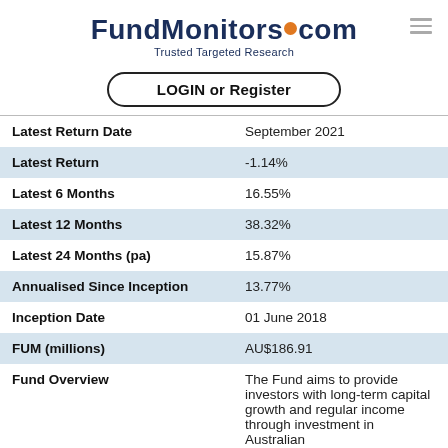FundMonitors.com — Trusted Targeted Research
LOGIN or Register
| Field | Value |
| --- | --- |
| Latest Return Date | September 2021 |
| Latest Return | -1.14% |
| Latest 6 Months | 16.55% |
| Latest 12 Months | 38.32% |
| Latest 24 Months (pa) | 15.87% |
| Annualised Since Inception | 13.77% |
| Inception Date | 01 June 2018 |
| FUM (millions) | AU$186.91 |
| Fund Overview | The Fund aims to provide investors with long-term capital growth and regular income through investment in Australian |